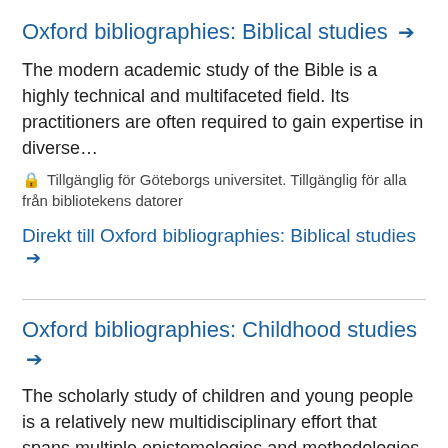Oxford bibliographies: Biblical studies →
The modern academic study of the Bible is a highly technical and multifaceted field. Its practitioners are often required to gain expertise in diverse…
🔒 Tillgänglig för Göteborgs universitet. Tillgänglig för alla från bibliotekens datorer
Direkt till Oxford bibliographies: Biblical studies →
Oxford bibliographies: Childhood studies →
The scholarly study of children and young people is a relatively new multidisciplinary effort that spans multiple epistemologies and methodologies, ma…
🔒 Tillgänglig för Göteborgs universitet. Tillgänglig för alla från bibliotekens datorer
Direkt till Oxford bibliographies: Childhood studies →